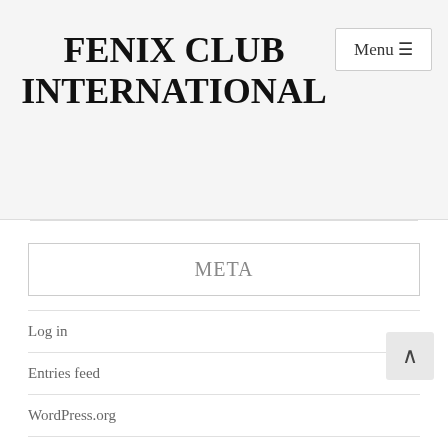FENIX CLUB INTERNATIONAL
META
Log in
Entries feed
WordPress.org
TAGS